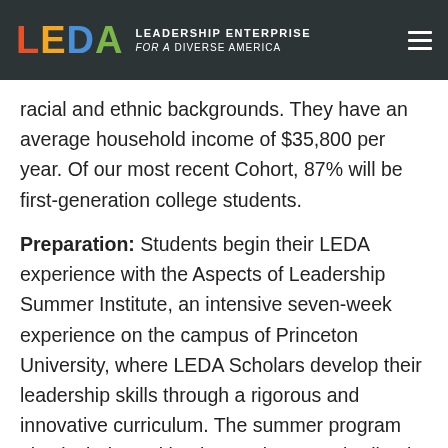LEDA LEADERSHIP ENTERPRISE for a DIVERSE AMERICA
racial and ethnic backgrounds. They have an average household income of $35,800 per year. Of our most recent Cohort, 87% will be first-generation college students.
Preparation: Students begin their LEDA experience with the Aspects of Leadership Summer Institute, an intensive seven-week experience on the campus of Princeton University, where LEDA Scholars develop their leadership skills through a rigorous and innovative curriculum. The summer program also includes writing instruction, standardized test preparation, college-application guidance and community building. Our internal research confirms that this preparation yields tangible results. Surveys